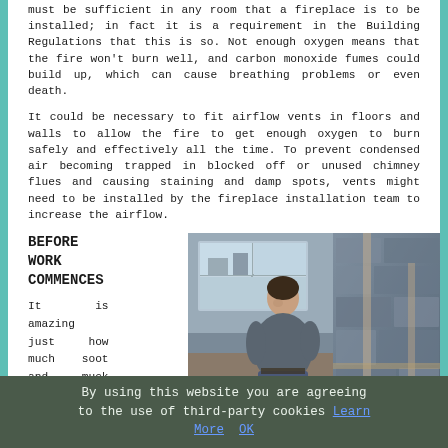must be sufficient in any room that a fireplace is to be installed; in fact it is a requirement in the Building Regulations that this is so. Not enough oxygen means that the fire won't burn well, and carbon monoxide fumes could build up, which can cause breathing problems or even death.
It could be necessary to fit airflow vents in floors and walls to allow the fire to get enough oxygen to burn safely and effectively all the time. To prevent condensed air becoming trapped in blocked off or unused chimney flues and causing staining and damp spots, vents might need to be installed by the fireplace installation team to increase the airflow.
BEFORE WORK COMMENCES
It is amazing just how much soot and muck can
[Figure (photo): A man sitting in a room under construction with stone or tile work visible on the walls, windows in the background showing an outdoor scene.]
By using this website you are agreeing to the use of third-party cookies Learn More OK